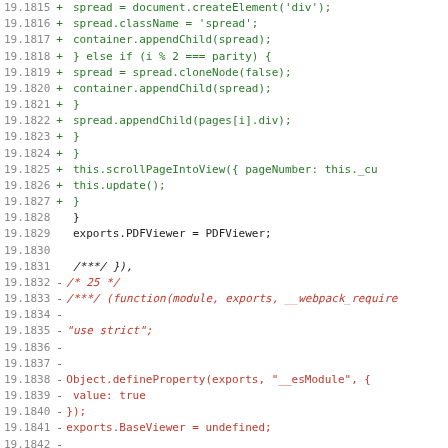Code diff showing JavaScript source lines 19.1815 through 19.1846, with added lines (green, +) and removed lines (red, -)
19.1815 +             spread = document.createElement('div');
19.1816 +             spread.className = 'spread';
19.1817 +             container.appendChild(spread);
19.1818 +         } else if (i % 2 === parity) {
19.1819 +             spread = spread.cloneNode(false);
19.1820 +             container.appendChild(spread);
19.1821 +         }
19.1822 +         spread.appendChild(pages[i].div);
19.1823 +     }
19.1824 +   }
19.1825 +   this.scrollPageIntoView({ pageNumber: this._cu
19.1826 +   this.update();
19.1827 + }
19.1828   }
19.1829   exports.PDFViewer = PDFViewer;
19.1830
19.1831   /***/ }),
19.1832 -/* 25 */
19.1833 -/***/ (function(module, exports, __webpack_require
19.1834 -
19.1835 -"use strict";
19.1836 -
19.1837 -
19.1838 -Object.defineProperty(exports, "__esModule", {
19.1839 -  value: true
19.1840 -});
19.1841 -exports.BaseViewer = undefined;
19.1842 -
19.1843 -var _ui_utils = __webpack_require__(0);
19.1844 -
19.1845 -var _pdf_rendering_queue = __webpack_require__(3);
19.1846 -